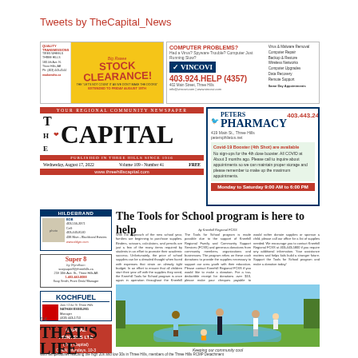Tweets by TheCapital_News
[Figure (screenshot): Stock Clearance advertisement for a car dealership with yellow background and red text]
[Figure (screenshot): Vincovi computer repair advertisement with logo and phone number 403.924.HELP (4357)]
[Figure (screenshot): Peters Pharmacy advertisement with phone 403.443.2433, address 419 Main St. Three Hills]
YOUR REGIONAL COMMUNITY NEWSPAPER
THE CAPITAL
PUBLISHED IN THREE HILLS SINCE 1916
Wednesday, August 17, 2022    Volume 109 - Number 41    FREE
www.threehillscapital.com
[Figure (screenshot): Hildebrand real estate advertisement]
[Figure (screenshot): Super 8 by Wyndham hotel advertisement with phone 1-403-443-8088]
[Figure (screenshot): Koch Fuel advertisement with Nathan Esseling Manager, (403) 443-1710]
[Figure (screenshot): Capital Printers LTD (The Capital) advertisement - OPEN Mondays 10-3, Ph: 403.443.5122]
The Tools for School program is here to help
by Kneehill Regional FCSS
With the approach of the new school year, families are beginning to purchase supplies. Binders, scissors, calculators, and pencils are just a few of the many items required by students in an effort to promote their academic success. Unfortunately, the price of school supplies can be a dreaded thought when faced with expenses that strain an already tight budget. In an effort to ensure that all children start their year off with the supplies they need, the Kneehill Tools for School program is once again in operation throughout the Kneehill area.
Families that need the assistance of the Tools for School program can contact the Kneehill Regional FCSS office at 403-443-5800 or engage@fcss.com. The Tools for School program is made possible due to the support of Kneehill Regional Family and Community Support Services (FCSS) and generous donations from community members, organizations and businesses. The program relies on these cash donations to provide the supplies necessary to support our area youth with their education. Please contact Kneehill Regional FCSS if you would like to make a donation. For a tax-deductible receipt for donations over $10, please make your cheques payable to Kneehill County Tools for School. If you or your organization would rather donate supplies or sponsor a child, please call our office for a list of supplies needed.
We encourage you to contact Kneehill Regional FCSS at 403-443-5800 if you require any additional information. Your assistance matters and helps kids build a stronger future. Support the Tools for School program and make a donation today!
[Figure (photo): People gathered around a splash pad/wading pool in Three Hills, including what appears to be an RCMP officer and community members with children playing in water]
Keeping our community cool
P4
THAT'S LIFE
With temperatures reaching the high 20s and low 30s in Three Hills, members of the Three Hills RCMP Detachment